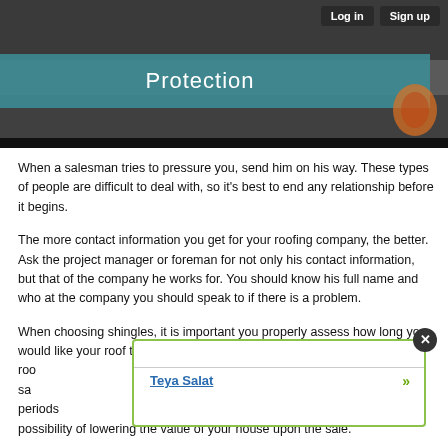[Figure (screenshot): Header image showing a building with debris, overlaid with a teal/blue banner reading 'Protection'. Navigation buttons 'Log in' and 'Sign up' in top right.]
When a salesman tries to pressure you, send him on his way. These types of people are difficult to deal with, so it's best to end any relationship before it begins.
The more contact information you get for your roofing company, the better. Ask the project manager or foreman for not only his contact information, but that of the company he works for. You should know his full name and who at the company you should speak to if there is a problem.
When choosing shingles, it is important you properly assess how long you would like your roof to last. For example, if you need a new roo[...partially obscured...]ars, you could sa[...partially obscured...]me periods[...partially obscured...] possibility of lowering the value of your house upon the sale.
[Figure (screenshot): Popup overlay with green border showing a link 'Teya Salat', a close button (X) in top-right, and a green double-arrow on the right.]